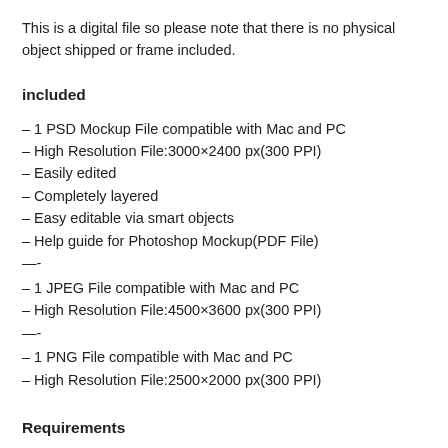This is a digital file so please note that there is no physical object shipped or frame included.
included
– 1 PSD Mockup File compatible with Mac and PC
– High Resolution File:3000×2400 px(300 PPI)
– Easily edited
– Completely layered
– Easy editable via smart objects
– Help guide for Photoshop Mockup(PDF File)
—-
– 1 JPEG File compatible with Mac and PC
– High Resolution File:4500×3600 px(300 PPI)
—-
– 1 PNG File compatible with Mac and PC
– High Resolution File:2500×2000 px(300 PPI)
Requirements